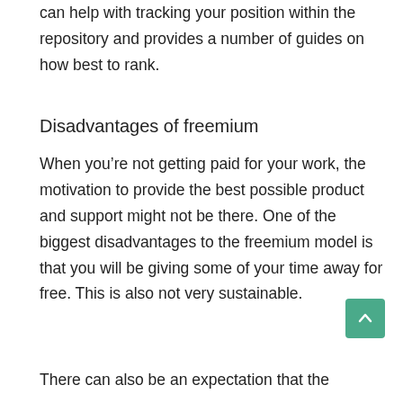can help with tracking your position within the repository and provides a number of guides on how best to rank.
Disadvantages of freemium
When you’re not getting paid for your work, the motivation to provide the best possible product and support might not be there. One of the biggest disadvantages to the freemium model is that you will be giving some of your time away for free. This is also not very sustainable.
There can also be an expectation that the